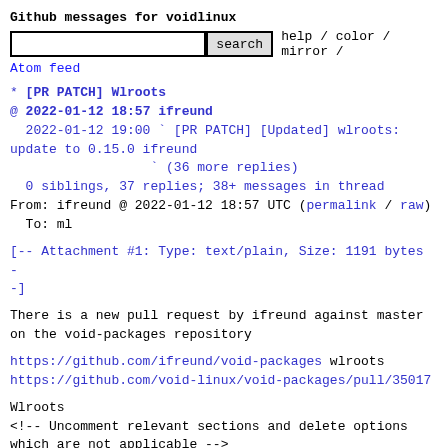Github messages for voidlinux
search  help / color / mirror /
Atom feed
* [PR PATCH] Wlroots
@ 2022-01-12 18:57 ifreund
  2022-01-12 19:00 ` [PR PATCH] [Updated] wlroots: update to 0.15.0 ifreund
                  ` (36 more replies)
  0 siblings, 37 replies; 38+ messages in thread
From: ifreund @ 2022-01-12 18:57 UTC (permalink / raw)
  To: ml
[-- Attachment #1: Type: text/plain, Size: 1191 bytes --]
There is a new pull request by ifreund against master
on the void-packages repository
https://github.com/ifreund/void-packages wlroots
https://github.com/void-linux/void-packages/pull/35017
Wlroots
<!-- Uncomment relevant sections and delete options
which are not applicable -->
#### Testing the changes
- I tested the changes in this PR: **NO**